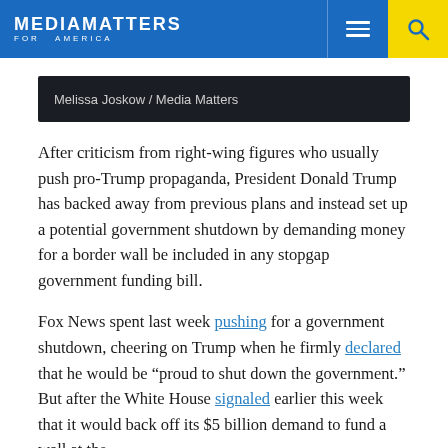MEDIA MATTERS FOR AMERICA
Melissa Joskow / Media Matters
After criticism from right-wing figures who usually push pro-Trump propaganda, President Donald Trump has backed away from previous plans and instead set up a potential government shutdown by demanding money for a border wall be included in any stopgap government funding bill.
Fox News spent last week pushing for a government shutdown, cheering on Trump when he firmly declared that he would be "proud to shut down the government." But after the White House signaled earlier this week that it would back off its $5 billion demand to fund a wall at the